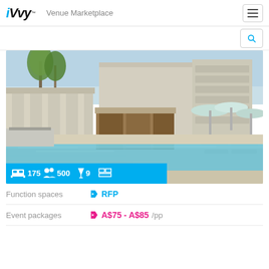iVvy Venue Marketplace
[Figure (photo): Luxury hotel pool area with palm trees, white cabanas, teal pool umbrellas, and modern architecture. Info bar shows: 175 beds, 500 guests, 9 function spaces, and a layout icon.]
Function spaces  RFP
Event packages  A$75 - A$85 /pp